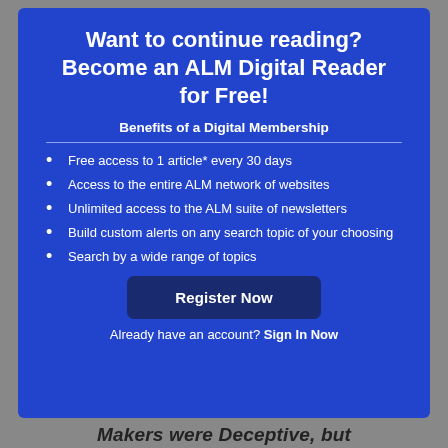Want to continue reading? Become an ALM Digital Reader for Free!
Benefits of a Digital Membership
Free access to 1 article* every 30 days
Access to the entire ALM network of websites
Unlimited access to the ALM suite of newsletters
Build custom alerts on any search topic of your choosing
Search by a wide range of topics
Register Now
Already have an account? Sign In Now
Makers were Deceptive, but